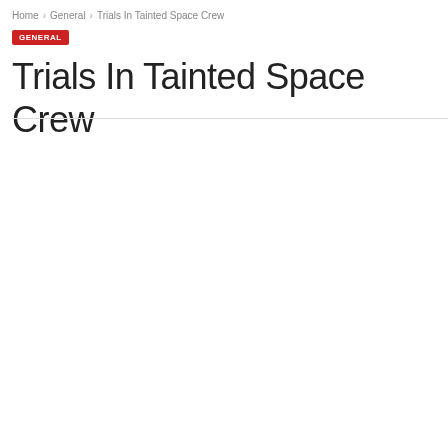Home › General › Trials In Tainted Space Crew
GENERAL
Trials In Tainted Space Crew